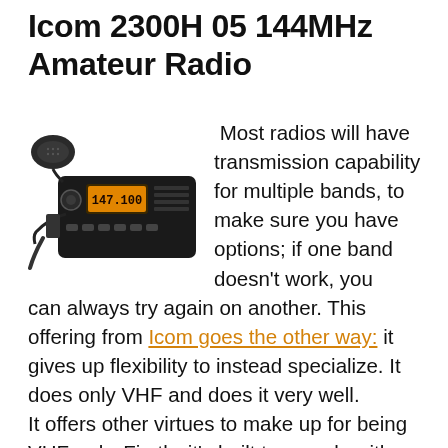Icom 2300H 05 144MHz Amateur Radio
[Figure (photo): Photo of the Icom 2300H 05 144MHz Amateur Radio transceiver, a black mobile radio unit with an orange digital display showing '147.100' and a microphone/speaker attached on the upper left.]
Most radios will have transmission capability for multiple bands, to make sure you have options; if one band doesn't work, you can always try again on another. This offering from Icom goes the other way: it gives up flexibility to instead specialize. It does only VHF and does it very well.
It offers other virtues to make up for being VHF-only. Firstly, it's built to comply with MIL-STD-810G specifications; that is, excellent